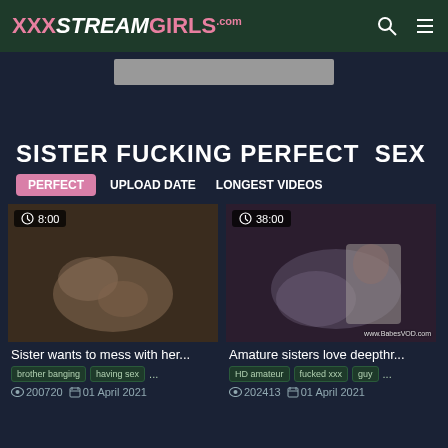XXXSTREAMGIRLS.com
SISTER FUCKING PERFECT SEX
PERFECT   UPLOAD DATE   LONGEST VIDEOS
[Figure (screenshot): Video thumbnail left: 8:00 duration badge, title 'Sister wants to mess with her...', tags: brother banging, having sex, views: 200720, date: 01 April 2021]
[Figure (screenshot): Video thumbnail right: 38:00 duration badge, title 'Amature sisters love deepthr...', tags: HD amateur, fucked xxx, guy, views: 202413, date: 01 April 2021]